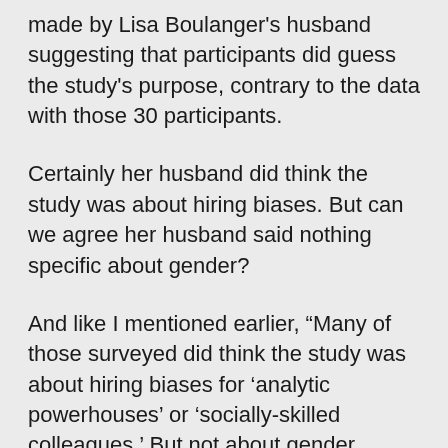made by Lisa Boulanger's husband suggesting that participants did guess the study's purpose, contrary to the data with those 30 participants.
Certainly her husband did think the study was about hiring biases. But can we agree her husband said nothing specific about gender?
And like I mentioned earlier, “Many of those surveyed did think the study was about hiring biases for ‘analytic powerhouses’ or ‘socially-skilled colleagues.’ But not about gender biases, specifically.”